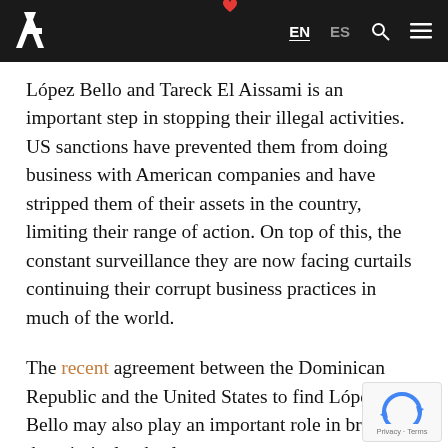EN ES
López Bello and Tareck El Aissami is an important step in stopping their illegal activities. US sanctions have prevented them from doing business with American companies and have stripped them of their assets in the country, limiting their range of action. On top of this, the constant surveillance they are now facing curtails continuing their corrupt business practices in much of the world.
The recent agreement between the Dominican Republic and the United States to find López Bello may also play an important role in bringing the criminal to heel.